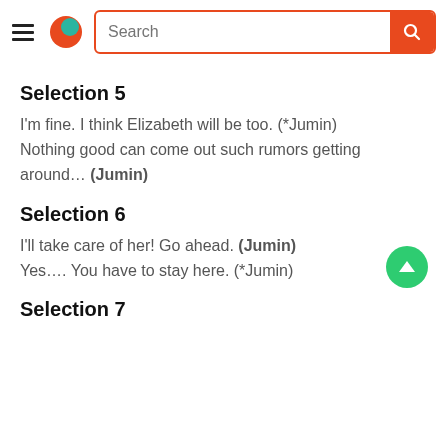Search bar with hamburger menu and logo
Selection 5
I'm fine. I think Elizabeth will be too. (*Jumin) Nothing good can come out such rumors getting around… (Jumin)
Selection 6
I'll take care of her! Go ahead. (Jumin) Yes…. You have to stay here. (*Jumin)
Selection 7